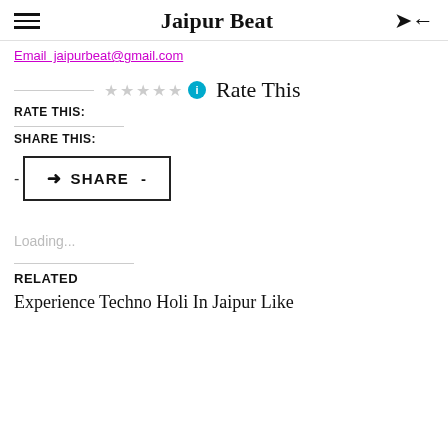Jaipur Beat
Email  jaipurbeat@gmail.com
RATE THIS:  Rate This
SHARE THIS:
SHARE
Loading...
RELATED
Experience Techno Holi In Jaipur Like